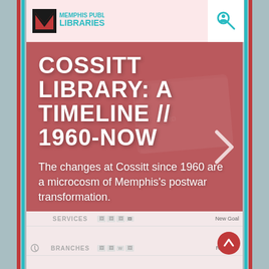[Figure (logo): Memphis Public Libraries logo with red M icon and teal text]
COSSITT LIBRARY: A TIMELINE // 1960-NOW
The changes at Cossitt since 1960 are a microcosm of Memphis's postwar transformation.
SERVICES
BRANCHES
LEADERSHIP
INFRASTRUCTURE